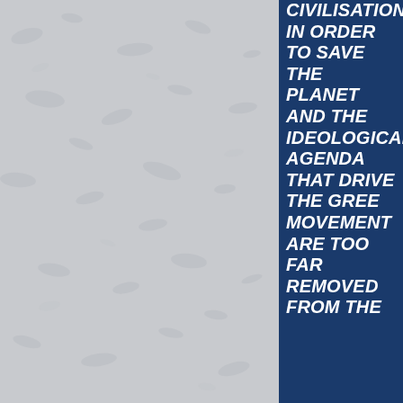[Figure (illustration): Light grey textured background filling approximately the left two-thirds of the page, resembling a stucco or concrete texture.]
CIVILISATION IN ORDER TO SAVE THE PLANET AND THE IDEOLOGICAL AGENDA THAT DRIVE THE GREE MOVEMENT ARE TOO FAR REMOVED FROM THE